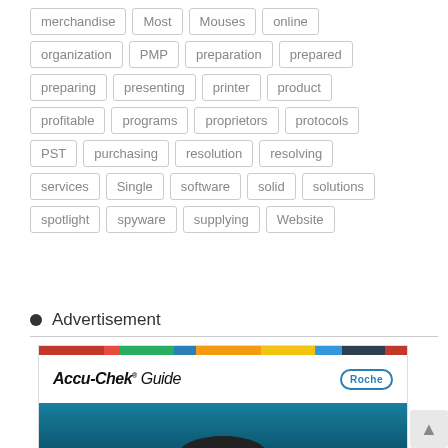merchandise  Most  Mouses  online
organization  PMP  preparation  prepared
preparing  presenting  printer  product
profitable  programs  proprietors  protocols
PST  purchasing  resolution  resolving
services  Single  software  solid  solutions
spotlight  spyware  supplying  Website
Advertisement
[Figure (photo): Accu-Chek Guide advertisement banner by Roche showing the device on a blue background]